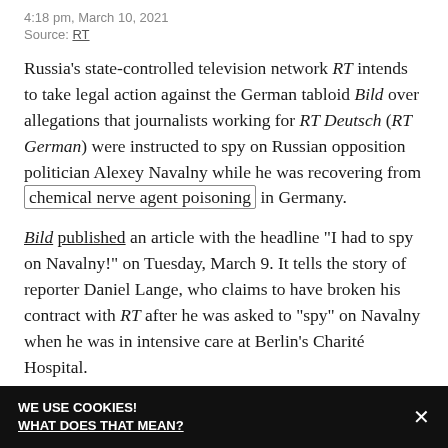4:18 pm, March 10, 2021
Source: RT
Russia's state-controlled television network RT intends to take legal action against the German tabloid Bild over allegations that journalists working for RT Deutsch (RT German) were instructed to spy on Russian opposition politician Alexey Navalny while he was recovering from chemical nerve agent poisoning in Germany.
Bild published an article with the headline “I had to spy on Navalny!” on Tuesday, March 9. It tells the story of reporter Daniel Lange, who claims to have broken his contract with RT after he was asked to “spy” on Navalny when he was in intensive care at Berlin’s Charité Hospital.
WE USE COOKIES! WHAT DOES THAT MEAN?